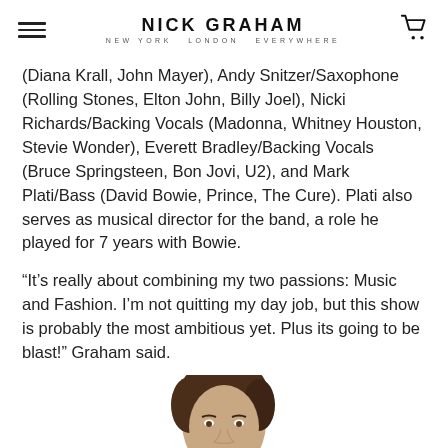NICK GRAHAM NEW YORK LONDON EVERYWHERE
(Diana Krall, John Mayer), Andy Snitzer/Saxophone (Rolling Stones, Elton John, Billy Joel), Nicki Richards/Backing Vocals (Madonna, Whitney Houston, Stevie Wonder), Everett Bradley/Backing Vocals (Bruce Springsteen, Bon Jovi, U2), and Mark Plati/Bass (David Bowie, Prince, The Cure). Plati also serves as musical director for the band, a role he played for 7 years with Bowie.
“It’s really about combining my two passions: Music and Fashion. I’m not quitting my day job, but this show is probably the most ambitious yet. Plus its going to be blast!” Graham said.
[Figure (photo): Partial photo of a man with dark hair, cropped at the shoulders, appearing at the bottom center of the page.]